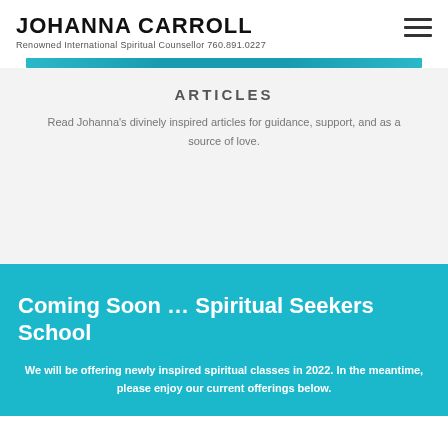JOHANNA CARROLL
Renowned International Spiritual Counsellor 760.891.0227
ARTICLES
Read Johanna's divinely inspired articles for guidance, support, and as a source of love.
Coming Soon … Spiritual Seekers School
We will be offering newly inspired spiritual classes in 2022. In the meantime, please enjoy our current offerings below.